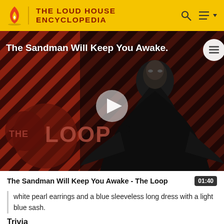THE LOUD HOUSE ENCYCLOPEDIA
[Figure (screenshot): Video thumbnail showing a dark-cloaked figure against a red and black diagonal striped background with 'THE LOOP' logo overlay and a play button in the center. Title text reads 'The Sandman Will Keep You Awake.' overlaid on the image.]
The Sandman Will Keep You Awake - The Loop  01:40
white pearl earrings and a blue sleeveless long dress with a light blue sash.
Trivia